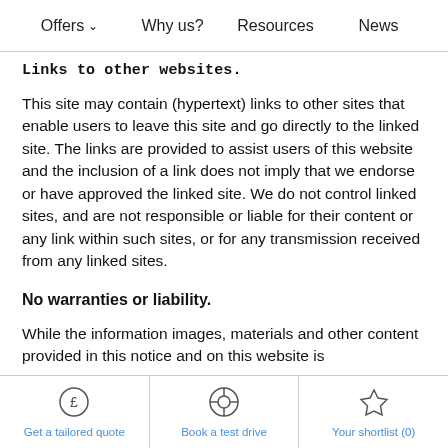Offers  ∨    Why us?    Resources    News
Links to other websites.
This site may contain (hypertext) links to other sites that enable users to leave this site and go directly to the linked site. The links are provided to assist users of this website and the inclusion of a link does not imply that we endorse or have approved the linked site. We do not control linked sites, and are not responsible or liable for their content or any link within such sites, or for any transmission received from any linked sites.
No warranties or liability.
While the information images, materials and other content provided in this notice and on this website is
Get a tailored quote    Book a test drive    Your shortlist (0)